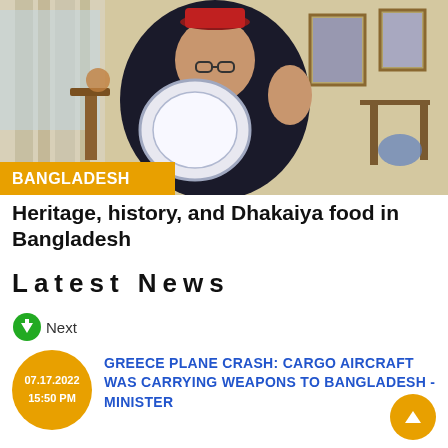[Figure (photo): A man wearing a red fez hat and dark clothing, holding a white plate, standing in a decorated room with framed pictures on the wall. A yellow 'BANGLADESH' label overlays the bottom-left of the image.]
Heritage, history, and Dhakaiya food in Bangladesh
Latest News
Next
GREECE PLANE CRASH: CARGO AIRCRAFT WAS CARRYING WEAPONS TO BANGLADESH - MINISTER
07.17.2022 15:50 PM